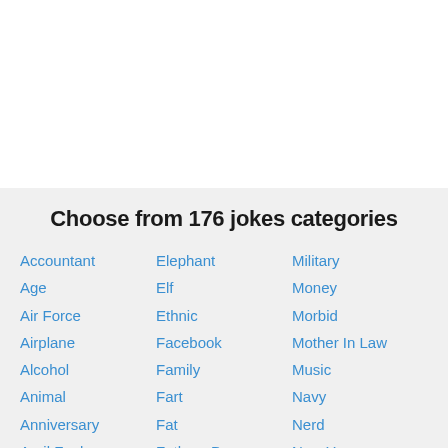Choose from 176 jokes categories
Accountant
Elephant
Military
Age
Elf
Money
Air Force
Ethnic
Morbid
Airplane
Facebook
Mother In Law
Alcohol
Family
Music
Animal
Fart
Navy
Anniversary
Fat
Nerd
April Fools
Fathers Day
New Year